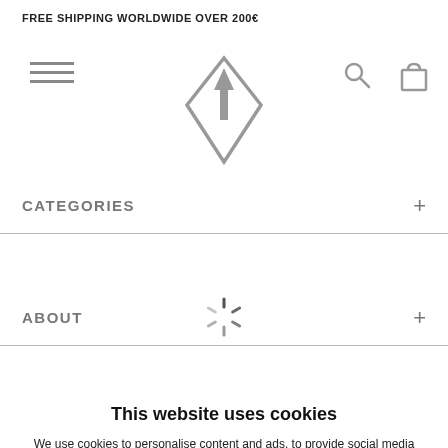FREE SHIPPING WORLDWIDE OVER 200€
[Figure (logo): Diamond-shaped logo with upward arrow inside, brand logo]
CATEGORIES +
ABOUT +
CUSTOMER SERVICE +
CONTACT US >
This website uses cookies
We use cookies to personalise content and ads, to provide social media features and to analyse our traffic. We also share information about your use of our site with our social media, advertising and analytics partners who may combine it with other information that you've provided to them or that they've collected from your use of their services.
USE NECESSARY ONLY
ALLOW ALL
Show details